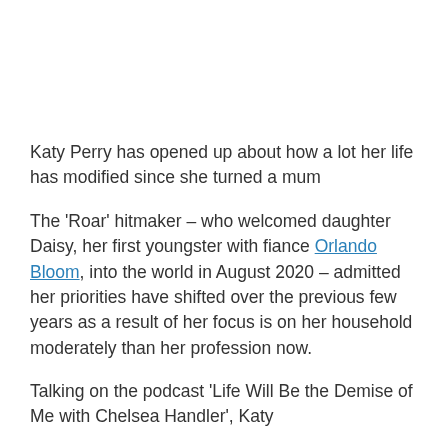Katy Perry has opened up about how a lot her life has modified since she turned a mum
The 'Roar' hitmaker – who welcomed daughter Daisy, her first youngster with fiance Orlando Bloom, into the world in August 2020 – admitted her priorities have shifted over the previous few years as a result of her focus is on her household moderately than her profession now.
Talking on the podcast 'Life Will Be the Demise of Me with Chelsea Handler', Katy